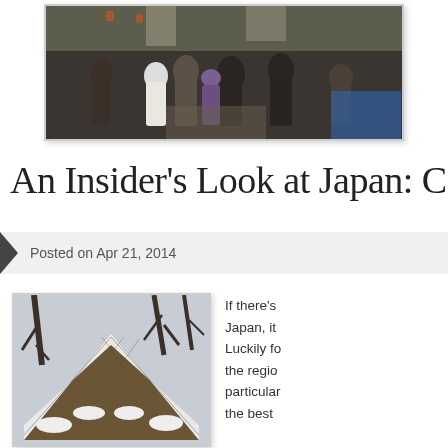[Figure (photo): Crowd of people walking along a tree-lined path with cherry blossoms, market stalls visible in background]
An Insider’s Look at Japan: C
Posted on Apr 21, 2014
[Figure (photo): Snow-covered traditional Japanese thatched roof building with bare trees in winter]
If there’s Japan, it Luckily fo the regio particular the best